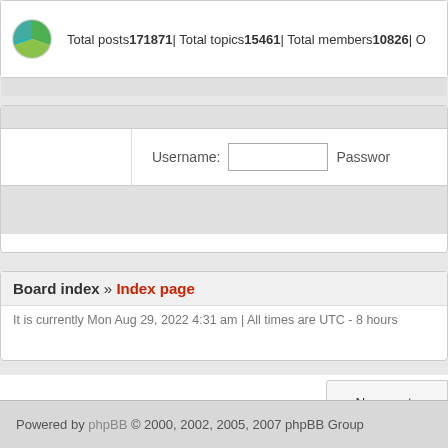Total posts 171871 | Total topics 15461 | Total members 10826 | O…
Username:   Password
Board index » Index page
It is currently Mon Aug 29, 2022 4:31 am | All times are UTC - 8 hours
New posts
Register
Powered by phpBB © 2000, 2002, 2005, 2007 phpBB Group